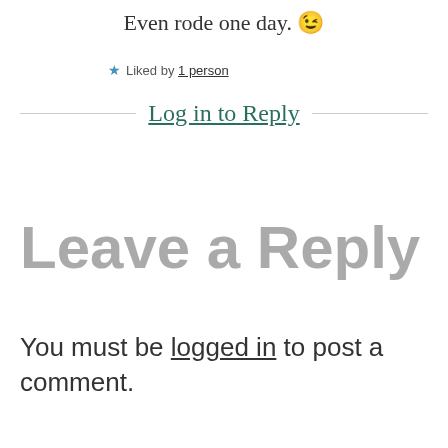Even rode one day. 😉
★ Liked by 1 person
Log in to Reply
Leave a Reply
You must be logged in to post a comment.